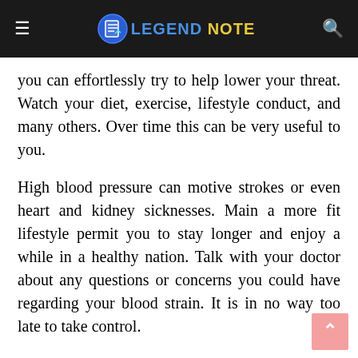LEGEND NOTE
you can effortlessly try to help lower your threat. Watch your diet, exercise, lifestyle conduct, and many others. Over time this can be very useful to you.
High blood pressure can motive strokes or even heart and kidney sicknesses. Main a more fit lifestyle permit you to stay longer and enjoy a while in a healthy nation. Talk with your doctor about any questions or concerns you could have regarding your blood strain. It is in no way too late to take control.